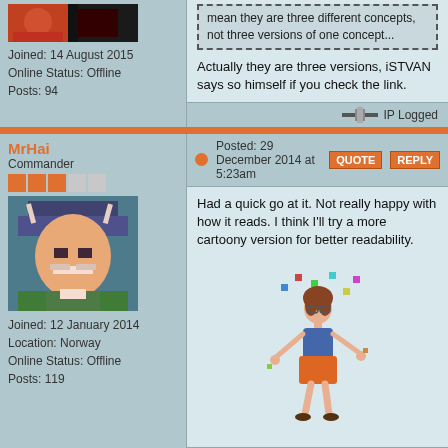Joined: 14 August 2015
Online Status: Offline
Posts: 94
mean they are three different concepts, not three versions of one concept...
Actually they are three versions, iSTVAN says so himself if you check the link.
IP Logged
MrHai
Commander
Posted: 29 December 2014 at 5:23am
Had a quick go at it. Not really happy with how it reads. I think I'll try a more cartoony version for better readability.
[Figure (illustration): Pixel art / digital illustration of a woman juggling colorful squares/dots, wearing glasses, blue top, orange skirt]
"Work is more fun than fun"
-John Cale
IP Logged
Joined: 12 January 2014
Location: Norway
Online Status: Offline
Posts: 119
DrTripwire
Commander
Posted: 29 December 2014 at 4:06pm
Is the other knee bent? If so I think we would see